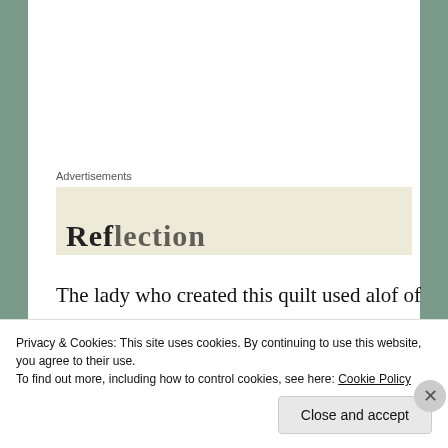Advertisements
[Figure (photo): Partially visible advertisement box with cream/beige background and partial bold text visible at the bottom]
The lady who created this quilt used alof of bias strips.

She mentioned that it took her quite a few years to

complete but it is stunning.
[Figure (photo): Partial photo strip showing a dark image, partially cut off at page bottom]
Privacy & Cookies: This site uses cookies. By continuing to use this website, you agree to their use.
To find out more, including how to control cookies, see here: Cookie Policy
Close and accept